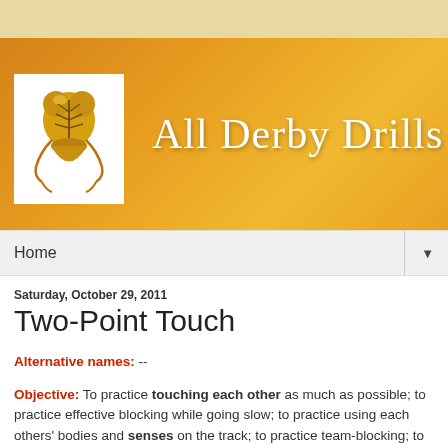[Figure (logo): All Derby Drills website header banner with logo showing a golden anatomical figure and site title text 'All Derby Drills' on orange gradient background]
Home ▼
Saturday, October 29, 2011
Two-Point Touch
Alternative names: --
Objective: To practice touching each other as much as possible; to practice effective blocking while going slow; to practice using each others' bodies and senses on the track; to practice team-blocking; to practice communication
Typical length of drill: 15 mins